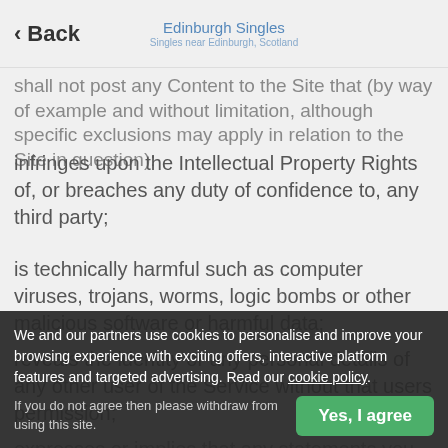Back | Edinburgh Singles | Singles near Edinburgh, Scotland
shall not post any Content to the Site that (by way of example and without limitation, although specific exclusions may apply in relation to the Site in question):
infringes upon the Intellectual Property Rights of, or breaches any duty of confidence to, any third party;
is technically harmful such as computer viruses, trojans, worms, logic bombs or other malicious software or harmful data;
reveals the identity or any personal details of any other user of the Service without that users permission;
expresses or implies that any statements you make are made or endorsed by us;
harasses or advocates harassment of another person;
We and our partners use cookies to personalise and improve your browsing experience with exciting offers, interactive platform features and targeted advertising. Read our cookie policy.
If you do not agree then please withdraw from using this site.